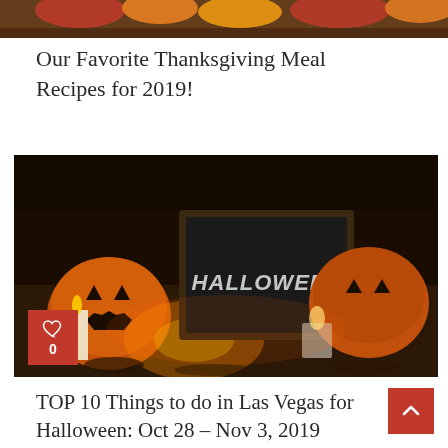[Figure (photo): Top portion of a food/Thanksgiving themed photo showing fruits/vegetables on a wooden surface]
Our Favorite Thanksgiving Meal Recipes for 2019!
[Figure (photo): Halloween themed photo with jack-o-lantern pumpkins, candles, and a chalkboard sign reading HALLOWEEN in a dark atmospheric setting. Has a red heart/like badge showing 0 likes in the top-left corner.]
TOP 10 Things to do in Las Vegas for Halloween: Oct 28 – Nov 3, 2019